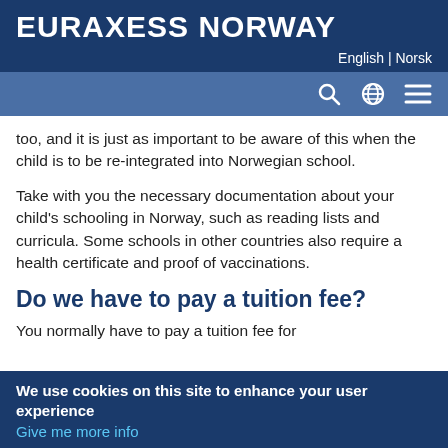EURAXESS NORWAY
English | Norsk
too, and it is just as important to be aware of this when the child is to be re-integrated into Norwegian school.
Take with you the necessary documentation about your child's schooling in Norway, such as reading lists and curricula. Some schools in other countries also require a health certificate and proof of vaccinations.
Do we have to pay a tuition fee?
You normally have to pay a tuition fee for
We use cookies on this site to enhance your user experience
Give me more info